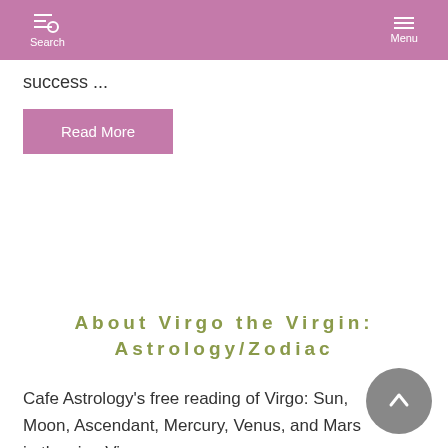Search  Menu
success ...
Read More
About Virgo the Virgin: Astrology/Zodiac
Cafe Astrology's free reading of Virgo: Sun, Moon, Ascendant, Mercury, Venus, and Mars in the sign Virgo